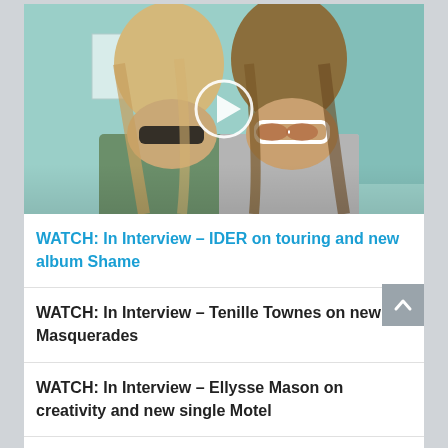[Figure (photo): Two young women wearing sunglasses posing together with a video play button overlay on a teal/green background]
WATCH: In Interview – IDER on touring and new album Shame
WATCH: In Interview – Tenille Townes on new EP Masquerades
WATCH: In Interview – Ellysse Mason on creativity and new single Motel
WATCH: In Interview Kohl on new music and